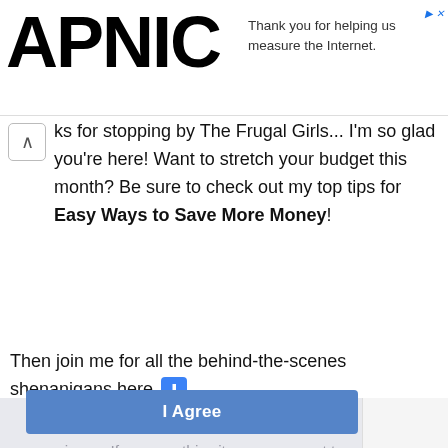[Figure (logo): APNIC logo in large bold black text with an advertisement banner to the right saying 'Thank you for helping us measure the Internet.']
ks for stopping by The Frugal Girls... I'm so glad you're here! Want to stretch your budget this month? Be sure to check out my top tips for Easy Ways to Save More Money!
Then join me for all the behind-the-scenes shenanigans here ⬇
This website uses cookies to offer you a better experience. If you use this site, you consent to our use of cookies. Learn more
I Agree